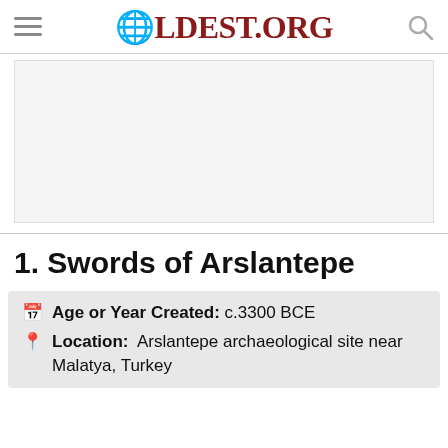OLDEST.ORG
[Figure (other): Advertisement placeholder area with light gray background]
1. Swords of Arslantepe
Age or Year Created: c.3300 BCE
Location: Arslantepe archaeological site near Malatya, Turkey